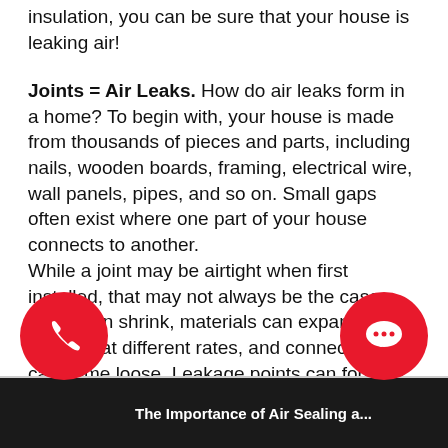insulation, you can be sure that your house is leaking air!
Joints = Air Leaks. How do air leaks form in a home? To begin with, your house is made from thousands of pieces and parts, including nails, wooden boards, framing, electrical wire, wall panels, pipes, and so on. Small gaps often exist where one part of your house connects to another.
While a joint may be airtight when first installed, that may not always be the case. Wood can shrink, materials can expand and contract at different rates, and connections can come loose. Leakage points can form all over -- ones that should be sealed to save you money.
The Importance of Air Sealing a...